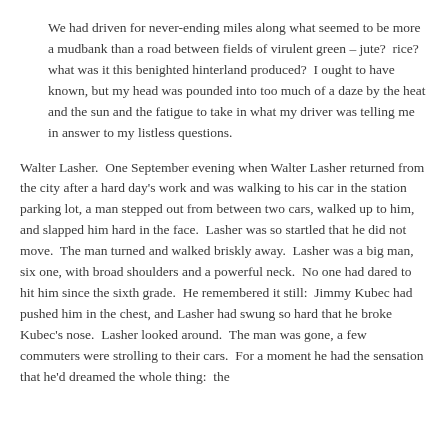We had driven for never-ending miles along what seemed to be more a mudbank than a road between fields of virulent green – jute?  rice?  what was it this benighted hinterland produced?  I ought to have known, but my head was pounded into too much of a daze by the heat and the sun and the fatigue to take in what my driver was telling me in answer to my listless questions.
Walter Lasher.  One September evening when Walter Lasher returned from the city after a hard day's work and was walking to his car in the station parking lot, a man stepped out from between two cars, walked up to him, and slapped him hard in the face.  Lasher was so startled that he did not move.  The man turned and walked briskly away.  Lasher was a big man, six one, with broad shoulders and a powerful neck.  No one had dared to hit him since the sixth grade.  He remembered it still:  Jimmy Kubec had pushed him in the chest, and Lasher had swung so hard that he broke Kubec's nose.  Lasher looked around.  The man was gone, a few commuters were strolling to their cars.  For a moment he had the sensation that he'd dreamed the whole thing:  the